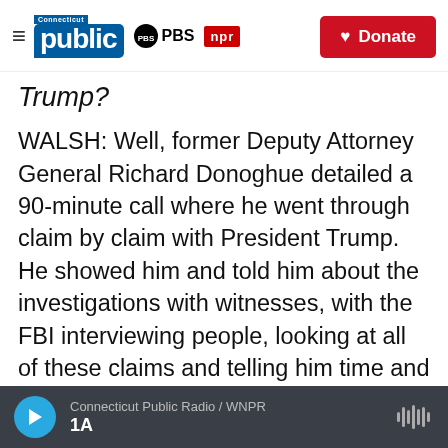Connecticut Public / PBS / NPR — Donate
Trump?
WALSH: Well, former Deputy Attorney General Richard Donoghue detailed a 90-minute call where he went through claim by claim with President Trump. He showed him and told him about the investigations with witnesses, with the FBI interviewing people, looking at all of these claims and telling him time and time again each one was false. Donoghue took extensive notes during that call and quoted the president. Here's what Donoghue said about what President Trump
Connecticut Public Radio / WNPR  1A